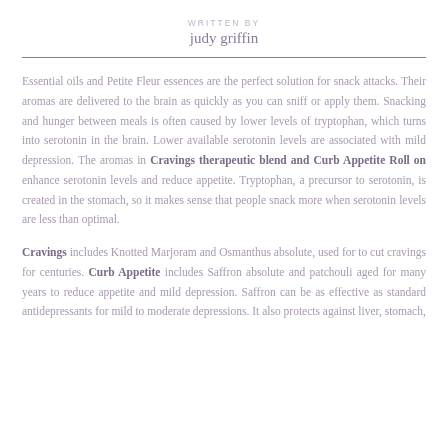WRITTEN BY
judy griffin
Essential oils and Petite Fleur essences are the perfect solution for snack attacks. Their aromas are delivered to the brain as quickly as you can sniff or apply them. Snacking and hunger between meals is often caused by lower levels of tryptophan, which turns into serotonin in the brain. Lower available serotonin levels are associated with mild depression. The aromas in Cravings therapeutic blend and Curb Appetite Roll on enhance serotonin levels and reduce appetite. Tryptophan, a precursor to serotonin, is created in the stomach, so it makes sense that people snack more when serotonin levels are less than optimal.
Cravings includes Knotted Marjoram and Osmanthus absolute, used for to cut cravings for centuries. Curb Appetite includes Saffron absolute and patchouli aged for many years to reduce appetite and mild depression. Saffron can be as effective as standard antidepressants for mild to moderate depressions. It also protects against liver, stomach,